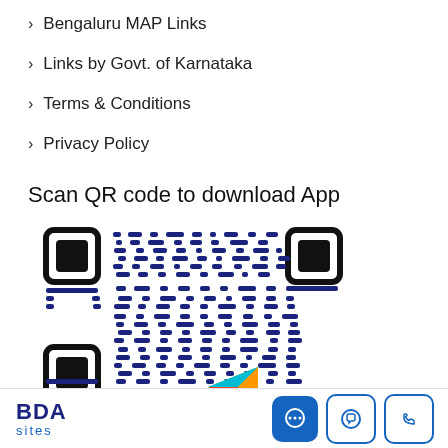Bengaluru MAP Links
Links by Govt. of Karnataka
Terms & Conditions
Privacy Policy
Scan QR code to download App
[Figure (other): QR code for downloading the BDA sites app, with a Google Play Store logo watermark visible in the lower portion]
BDA sites | Chat icon | WhatsApp icon | Phone icon